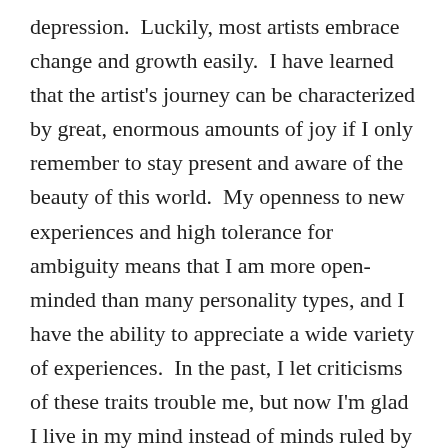depression.  Luckily, most artists embrace change and growth easily.  I have learned that the artist's journey can be characterized by great, enormous amounts of joy if I only remember to stay present and aware of the beauty of this world.  My openness to new experiences and high tolerance for ambiguity means that I am more open-minded than many personality types, and I have the ability to appreciate a wide variety of experiences.  In the past, I let criticisms of these traits trouble me, but now I'm glad I live in my mind instead of minds ruled by tradition and routine.  Variety of personalities on this planet make the world more interesting.  I am who I am, and I choose to appreciate my particular approach to life and journey as an artist.  I hope that all creative types do appreciate their way of looking at the world.  Myers Briggs, Enneagram, and many other tests show us some of the beautiful variety of people we interact with.